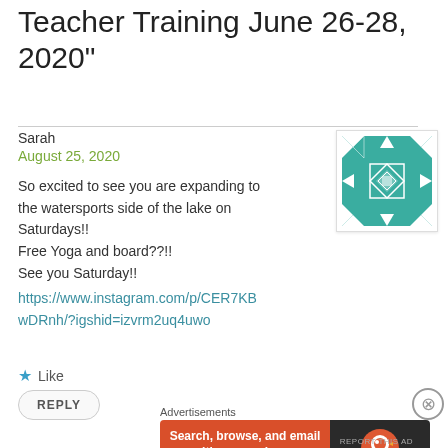Teacher Training June 26-28, 2020”
Sarah
August 25, 2020

So excited to see you are expanding to the watersports side of the lake on Saturdays!!
Free Yoga and board??!!
See you Saturday!!
https://www.instagram.com/p/CER7KBwDRnh/?igshid=izvrm2uq4uwo
[Figure (illustration): Teal and white geometric quilt-pattern avatar image]
Like
REPLY
Advertisements
[Figure (screenshot): DuckDuckGo advertisement banner: Search, browse, and email with more privacy. All in One Free App]